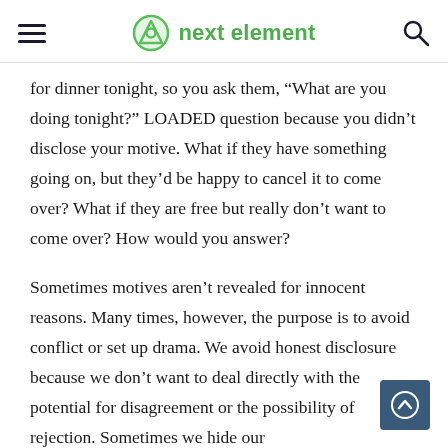next element
for dinner tonight, so you ask them, “What are you doing tonight?” LOADED question because you didn’t disclose your motive. What if they have something going on, but they’d be happy to cancel it to come over? What if they are free but really don’t want to come over? How would you answer?
Sometimes motives aren’t revealed for innocent reasons. Many times, however, the purpose is to avoid conflict or set up drama. We avoid honest disclosure because we don’t want to deal directly with the potential for disagreement or the possibility of rejection. Sometimes we hide our